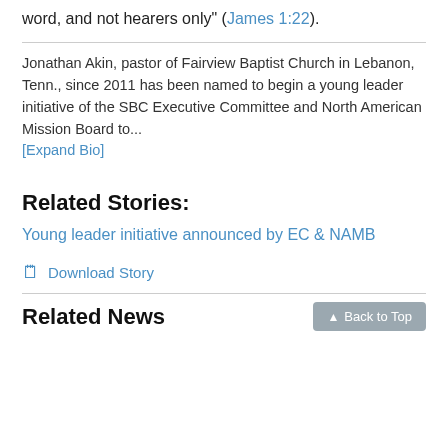word, and not hearers only" (James 1:22).
Jonathan Akin, pastor of Fairview Baptist Church in Lebanon, Tenn., since 2011 has been named to begin a young leader initiative of the SBC Executive Committee and North American Mission Board to...
[Expand Bio]
Related Stories:
Young leader initiative announced by EC & NAMB
Download Story
Related News